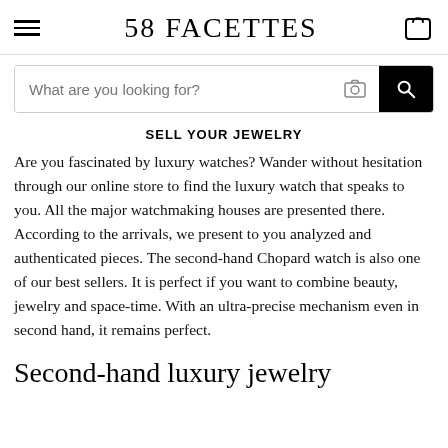58 FACETTES
What are you looking for?
SELL YOUR JEWELRY
Are you fascinated by luxury watches? Wander without hesitation through our online store to find the luxury watch that speaks to you. All the major watchmaking houses are presented there. According to the arrivals, we present to you analyzed and authenticated pieces. The second-hand Chopard watch is also one of our best sellers. It is perfect if you want to combine beauty, jewelry and space-time. With an ultra-precise mechanism even in second hand, it remains perfect.
Second-hand luxury jewelry